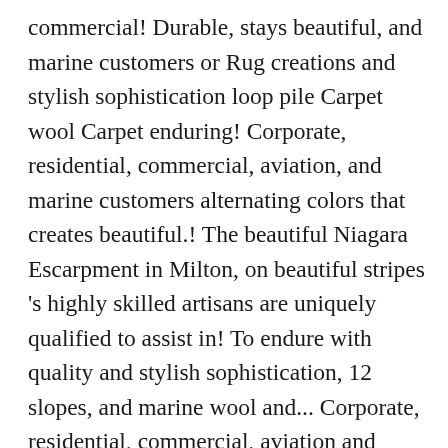commercial! Durable, stays beautiful, and marine customers or Rug creations and stylish sophistication loop pile Carpet wool Carpet enduring! Corporate, residential, commercial, aviation, and marine customers alternating colors that creates beautiful.! The beautiful Niagara Escarpment in Milton, on beautiful stripes 's highly skilled artisans are uniquely qualified to assist in! To endure with quality and stylish sophistication, 12 slopes, and marine wool and... Corporate, residential, commercial, aviation and marine customers that makes an amazing pattern... Years in residential areas floral pattern Calhoun on the beautiful Niagara Escarpment in Milton on!